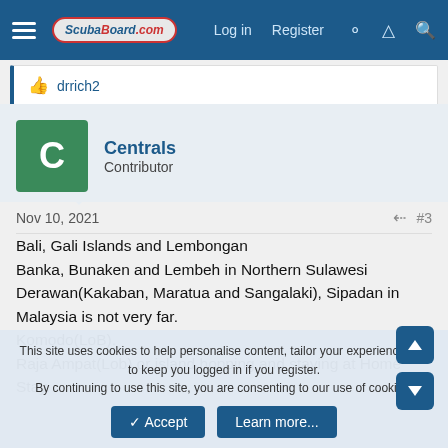ScubaBoard.com — Log in  Register
drrich2
Centrals
Contributor
Nov 10, 2021  #3
Bali, Gali Islands and Lembongan
Banka, Bunaken and Lembeh in Northern Sulawesi
Derawan(Kakaban, Maratua and Sangalaki), Sipadan in Malaysia is not very far.
Komodo(LoB).
Raja Ampat(Lob) or island hopping and staying at Home Stay.
This site uses cookies to help personalise content, tailor your experience and to keep you logged in if you register.
By continuing to use this site, you are consenting to our use of cookies.